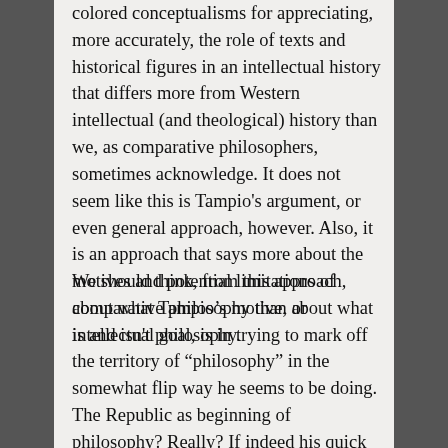colored conceptualisms for appreciating, more accurately, the role of texts and historical figures in an intellectual history that differs more from Western intellectual (and theological) history than we, as comparative philosophers, sometimes acknowledge. It does not seem like this is Tampio's argument, or even general approach, however. Also, it is an approach that says more about the motives and potential limitations of comparative philosophy than about what is and isn't philosophy.
We should think, from this approach, about what Tampio's motive, or intellectual goal, is in trying to mark off the territory of "philosophy" in the somewhat flip way he seems to be doing. The Republic as beginning of philosophy? Really? If indeed his quick definition of philosophy as "a restless pursuit for truth through contentious dialogue" is what he means, there are plenty of examples of that outside of, prior to, and geographically far removed from ancient